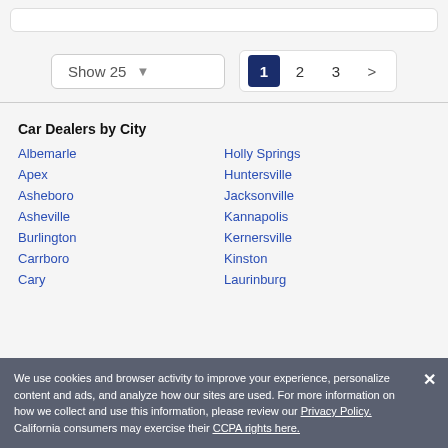Show 25  [dropdown]  1  2  3  >
Car Dealers by City
Albemarle
Holly Springs
Apex
Huntersville
Asheboro
Jacksonville
Asheville
Kannapolis
Burlington
Kernersville
Carrboro
Kinston
Cary
Laurinburg
We use cookies and browser activity to improve your experience, personalize content and ads, and analyze how our sites are used. For more information on how we collect and use this information, please review our Privacy Policy. California consumers may exercise their CCPA rights here.